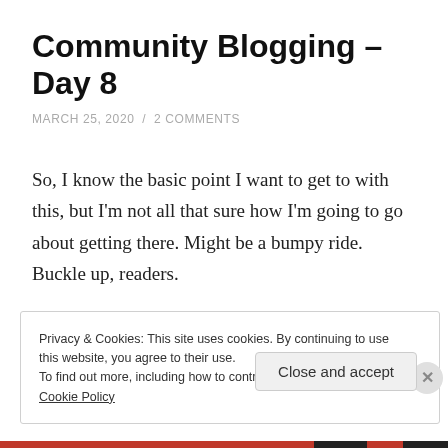Community Blogging – Day 8
MARCH 25, 2020  /  2 COMMENTS
So, I know the basic point I want to get to with this, but I'm not all that sure how I'm going to go about getting there. Might be a bumpy ride. Buckle up, readers.
Continue reading →
Privacy & Cookies: This site uses cookies. By continuing to use this website, you agree to their use.
To find out more, including how to control cookies, see here: Cookie Policy